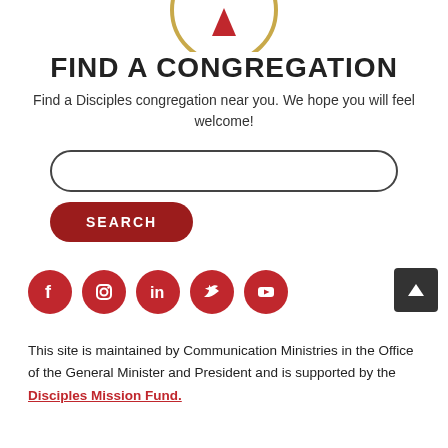[Figure (logo): Partial circular logo with a red triangle/flame and gold ring at the top of the page]
FIND A CONGREGATION
Find a Disciples congregation near you. We hope you will feel welcome!
[Figure (other): Search input field (rounded rectangle, empty) and a dark red SEARCH button below it]
[Figure (infographic): Row of 5 red circular social media icons: Facebook, Instagram, LinkedIn, Twitter, YouTube]
This site is maintained by Communication Ministries in the Office of the General Minister and President and is supported by the Disciples Mission Fund.